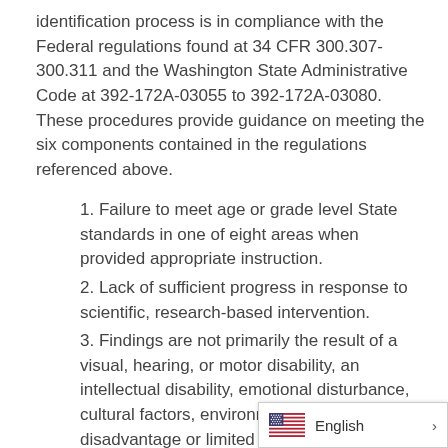identification process is in compliance with the Federal regulations found at 34 CFR 300.307-300.311 and the Washington State Administrative Code at 392-172A-03055 to 392-172A-03080. These procedures provide guidance on meeting the six components contained in the regulations referenced above.
1. Failure to meet age or grade level State standards in one of eight areas when provided appropriate instruction.
2. Lack of sufficient progress in response to scientific, research-based intervention.
3. Findings are not primarily the result of a visual, hearing, or motor disability, an intellectual disability, emotional disturbance, cultural factors, environmental or economic disadvantage or limited English proficiency
4. Underachievement is not due